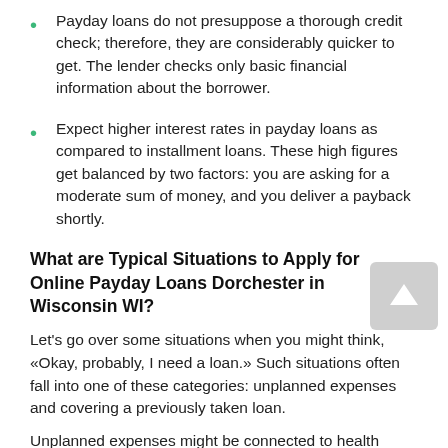Payday loans do not presuppose a thorough credit check; therefore, they are considerably quicker to get. The lender checks only basic financial information about the borrower.
Expect higher interest rates in payday loans as compared to installment loans. These high figures get balanced by two factors: you are asking for a moderate sum of money, and you deliver a payback shortly.
What are Typical Situations to Apply for Online Payday Loans Dorchester in Wisconsin WI?
Let’s go over some situations when you might think, «Okay, probably, I need a loan.» Such situations often fall into one of these categories: unplanned expenses and covering a previously taken loan.
Unplanned expenses might be connected to health issues; repair works for your automobile or home, a spontaneous purchase. In this case, Dorchester payday loans online